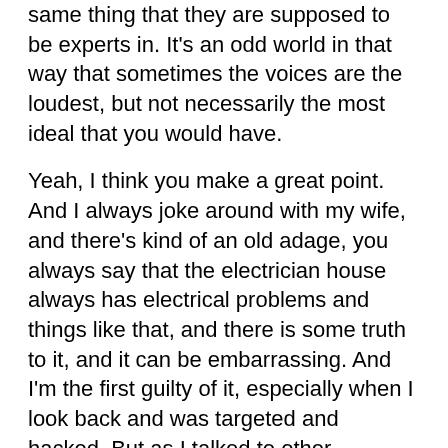same thing that they are supposed to be experts in. It's an odd world in that way that sometimes the voices are the loudest, but not necessarily the most ideal that you would have.
Yeah, I think you make a great point. And I always joke around with my wife, and there's kind of an old adage, you always say that the electrician house always has electrical problems and things like that, and there is some truth to it, and it can be embarrassing. And I'm the first guilty of it, especially when I look back and was targeted and hacked. But as I talked to other cybersecurity practitioners and some of these guys, I learn a ton of things about. But yet I see they themselves are lacks in cybersecurity often, and they'll send me a password by email and say, Well, I trust you. It's okay.
And I'm like, no, stop, please don't text or email that or they're not using multifactor authentication or whatever it